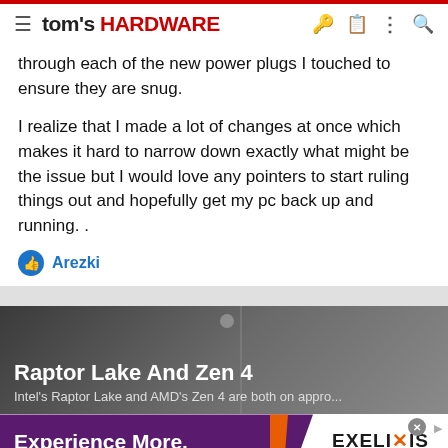tom's HARDWARE
through each of the new power plugs I touched to ensure they are snug.
I realize that I made a lot of changes at once which makes it hard to narrow down exactly what might be the issue but I would love any pointers to start ruling things out and hopefully get my pc back up and running. .
Arezki
[Figure (photo): Promotional article card for 'Raptor Lake And Zen 4' with subtitle: Intel's Raptor Lake and AMD's Zen 4 are both on appro...]
Raptor Lake And Zen 4
Intel's Raptor Lake and AMD's Zen 4 are both on appro...
[Figure (other): Advertisement banner: Experience More. Innovate oncology with us. EXELIXIS View jobs]